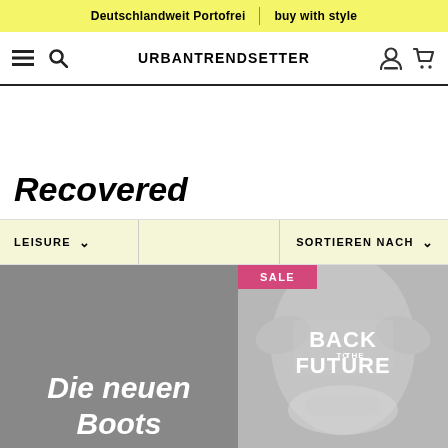Deutschlandwelt Portofrei | buy with style
URBANTRENDSETTER
Recovered
LEISURE ∨   SORTIEREN NACH ∨
[Figure (screenshot): Gray product box with italic white text 'Die neuen Boots' and a gray t-shirt with Back to the Future logo with a pink SALE badge]